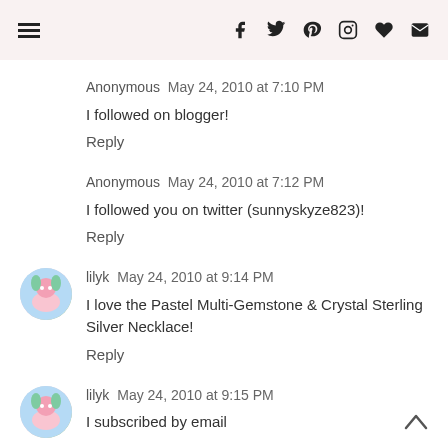Navigation menu and social icons: f, twitter, pinterest, instagram, heart, mail
Anonymous May 24, 2010 at 7:10 PM
I followed on blogger!
Reply
Anonymous May 24, 2010 at 7:12 PM
I followed you on twitter (sunnyskyze823)!
Reply
lilyk May 24, 2010 at 9:14 PM
I love the Pastel Multi-Gemstone & Crystal Sterling Silver Necklace!
Reply
lilyk May 24, 2010 at 9:15 PM
I subscribed by email